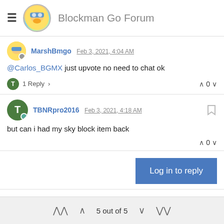Blockman Go Forum
MarshBmgo Feb 3, 2021, 4:04 AM
@Carlos_BGMX just upvote no need to chat ok
1 Reply > ∧ 0 ∨
TBNRpro2016 Feb 3, 2021, 4:18 AM
but can i had my sky block item back
∧ 0 ∨
Log in to reply
5 out of 5